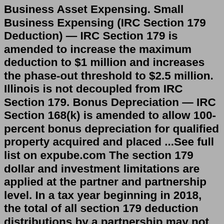Business Asset Expensing. Small Business Expensing (IRC Section 179 Deduction) — IRC Section 179 is amended to increase the maximum deduction to $1 million and increases the phase-out threshold to $2.5 million. Illinois is not decoupled from IRC Section 179. Bonus Depreciation — IRC Section 168(k) is amended to allow 100-percent bonus depreciation for qualified property acquired and placed ...See full list on expube.com The section 179 dollar and investment limitations are applied at the partner and partnership level. In a tax year beginning in 2018, the total of all section 179 deduction distributions by a partnership may not exceed $1 million (the dollar limitation). The $1 million limitation is reduced by the cost of qualifying property in excess of ...A business can deduct up to $1 million in the year the equipment is first bought or leased. Bonus deductions are available until 2022 for equipment that exceeds the deduction limit. The deduction is taken before the bonus. The Section 179 Deduction covers new and used equipment. The bonus depreciation covers only new